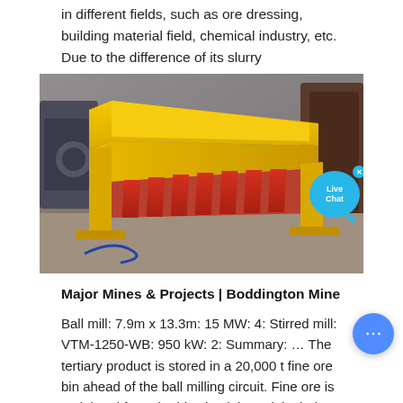in different fields, such as ore dressing, building material field, chemical industry, etc. Due to the difference of its slurry discharge…
[Figure (photo): Industrial photo of a yellow and red vibrating feeder/screen machine placed on a factory floor. The machine has a large yellow trough body with red parallel bars/slats at the lower end, supported by yellow side frames. A Live Chat button overlay appears in the top-right corner of the image.]
Major Mines & Projects | Boddington Mine
Ball mill: 7.9m x 13.3m: 15 MW: 4: Stirred mill: VTM-1250-WB: 950 kW: 2: Summary: … The tertiary product is stored in a 20,000 t fine ore bin ahead of the ball milling circuit. Fine ore is reclaimed from the bin via eight reclaim belt feeders (two per four parallel milling trains) and delivered to the fine